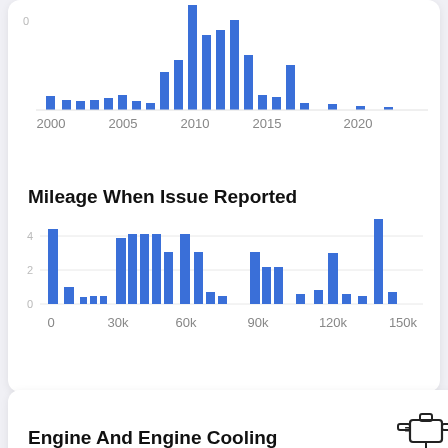[Figure (bar-chart): Year Chart (partial)]
Mileage When Issue Reported
[Figure (bar-chart): Mileage When Issue Reported]
Engine And Engine Cooling